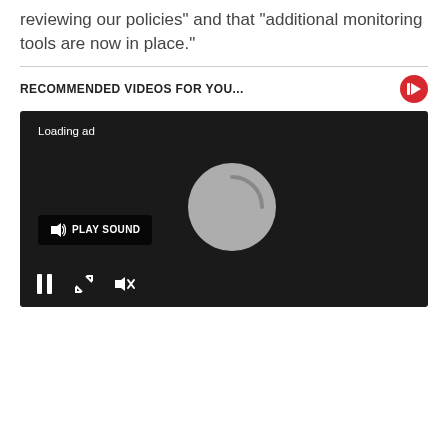reviewing our policies" and that "additional monitoring tools are now in place."
RECOMMENDED VIDEOS FOR YOU...
[Figure (screenshot): Video player showing a loading ad state with a spinner circle, Play Sound button, pause, expand and mute controls on a dark background.]